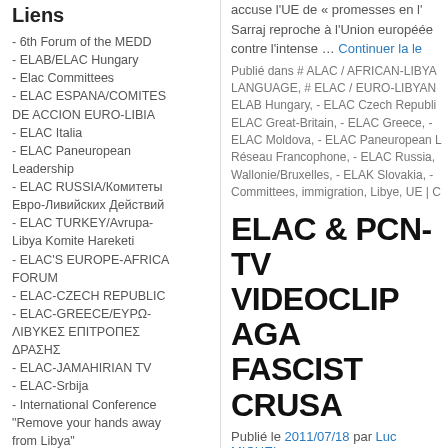Liens
- 6th Forum of the MEDD
- ELAB/ELAC Hungary
- Elac Committees
- ELAC ESPANA/COMITES DE ACCION EURO-LIBIA
- ELAC Italia
- ELAC Paneuropean Leadership
- ELAC RUSSIA/Комитеты Евро-Ливийских Действий
- ELAC TURKEY/Avrupa-Libya Komite Hareketi
- ELAC'S EUROPE-AFRICA FORUM
- ELAC-CZECH REPUBLIC
- ELAC-GREECE/ΕΥΡΩ-ΛΙΒΥΚΕΣ ΕΠΙΤΡΟΠΕΣ ΔΡΑΣΗΣ
- ELAC-JAMAHIRIAN TV
- ELAC-Srbija
- International Conference "Remove your hands away from Libya"
- Libian Reality
accuse l'UE de « promesses en l'... Sarraj reproche à l'Union européenne contre l'intense … Continuer la le...
Publié dans # ALAC / AFRICAN-LIBYAN LANGUAGE, # ELAC / EURO-LIBYAN ELAB Hungary, - ELAC Czech Republic, ELAC Great-Britain, - ELAC Greece, - ELAC Moldova, - ELAC Paneuropean L... Réseau Francophone, - ELAC Russia, Wallonie/Bruxelles, - ELAK Slovakia, - Committees, immigration, Libye, UE | C...
ELAC & PCN-TV VIDEOCLIP AGA... FASCIST CRUSA...
Publié le 2011/07/18 par Luc MICHEL
Libya 2011 : the new Spanish Civil against Libyan Jamahiriya l... – S...